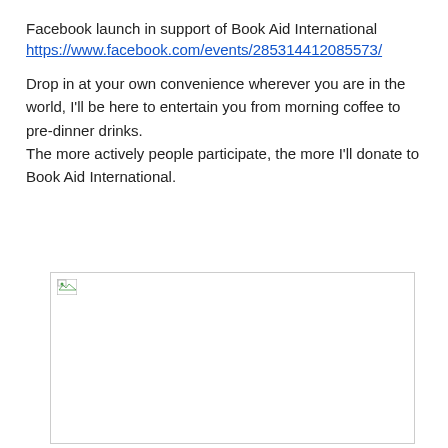Facebook launch in support of Book Aid International
https://www.facebook.com/events/285314412085573/
Drop in at your own convenience wherever you are in the world, I'll be here to entertain you from morning coffee to pre-dinner drinks.
The more actively people participate, the more I'll donate to Book Aid International.
[Figure (photo): A broken/unloaded image placeholder with a small image icon in the top-left corner and a white rectangle area below.]